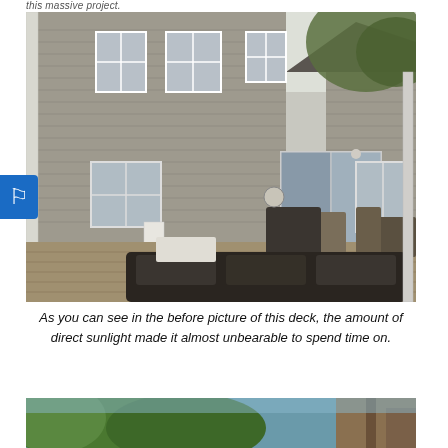this massive project.
[Figure (photo): Before photo of a residential deck with outdoor furniture including chairs, a table, and a sectional sofa in the foreground. A two-story house with gray siding and white trim is visible in the background, along with trees.]
As you can see in the before picture of this deck, the amount of direct sunlight made it almost unbearable to spend time on.
[Figure (photo): Partial view of a second before/after photo showing green trees against a blue sky and a wooden structure on the right.]